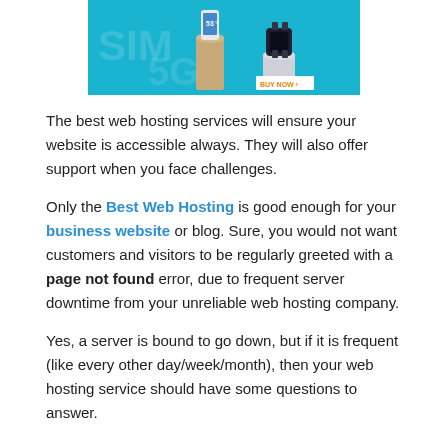[Figure (photo): Advertisement banner image showing web hosting products with a teal/blue background, devices on pedestals, and a 'BUY NOW' button]
The best web hosting services will ensure your website is accessible always. They will also offer support when you face challenges.
Only the Best Web Hosting is good enough for your business website or blog. Sure, you would not want customers and visitors to be regularly greeted with a page not found error, due to frequent server downtime from your unreliable web hosting company.
Yes, a server is bound to go down, but if it is frequent (like every other day/week/month), then your web hosting service should have some questions to answer.